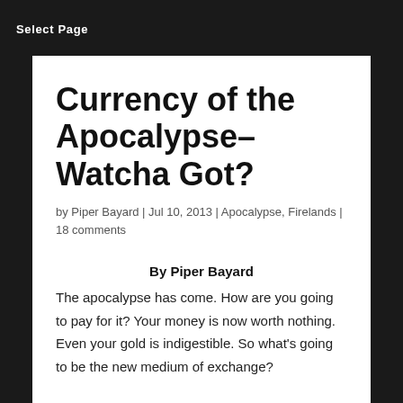Select Page
Currency of the Apocalypse–Watcha Got?
by Piper Bayard | Jul 10, 2013 | Apocalypse, Firelands | 18 comments
By Piper Bayard
The apocalypse has come. How are you going to pay for it? Your money is now worth nothing. Even your gold is indigestible. So what's going to be the new medium of exchange?